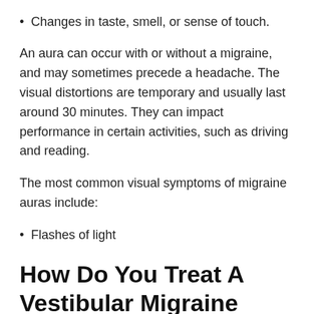Changes in taste, smell, or sense of touch.
An aura can occur with or without a migraine, and may sometimes precede a headache. The visual distortions are temporary and usually last around 30 minutes. They can impact performance in certain activities, such as driving and reading.
The most common visual symptoms of migraine auras include:
Flashes of light
How Do You Treat A Vestibular Migraine